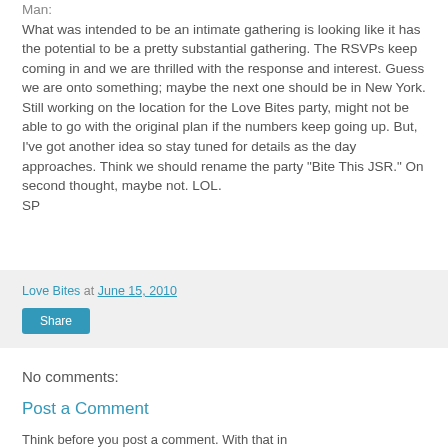Man:
What was intended to be an intimate gathering is looking like it has the potential to be a pretty substantial gathering. The RSVPs keep coming in and we are thrilled with the response and interest. Guess we are onto something; maybe the next one should be in New York.
Still working on the location for the Love Bites party, might not be able to go with the original plan if the numbers keep going up. But, I've got another idea so stay tuned for details as the day approaches. Think we should rename the party "Bite This JSR." On second thought, maybe not. LOL.
SP
Love Bites at June 15, 2010
Share
No comments:
Post a Comment
Think before you post a comment. With that in